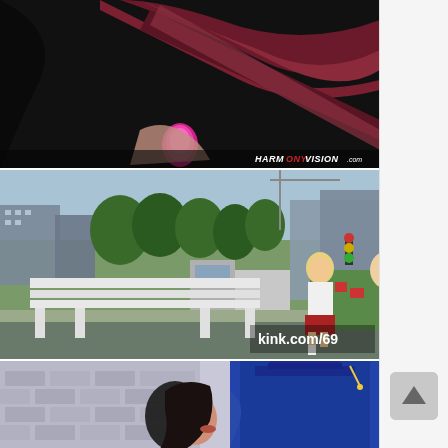[Figure (photo): Close-up video thumbnail with dark background showing fabric/leather straps in dark red/burgundy color with a pink/magenta object. Watermark reads HARMONYVISION.com in bottom right corner.]
[Figure (photo): Outdoor video thumbnail showing a young blonde woman sitting on a white bench in a city park/street scene with trees, buildings, trucks and cars visible in background. Watermark reads kink.com/69 in bottom right corner.]
[Figure (photo): Video thumbnail showing a dark-haired woman in a blue graduation cap and gown against a light stone/brick background.]